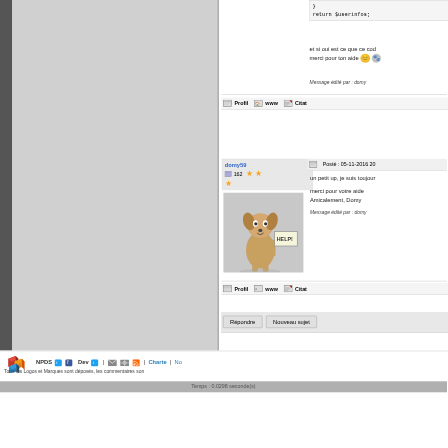}
return $userinfos;
et si oui est ce que ce cod merci pour ton aide
Message édité par : domy
Profil  www  Citat
domy59
162 ★★★
Posté : 05-11-2016 20
un petit up, je suis toujour
merci pour votre aide
Amicalement, Domy
Message édité par : domy
Profil  www  Citat
Répondre   Nouveau sujet
NPDS  Dev  |  Charte  | No
Tous les Logos et Marques sont déposés, les commentaires son
Temps : 0.0298 seconde(s)